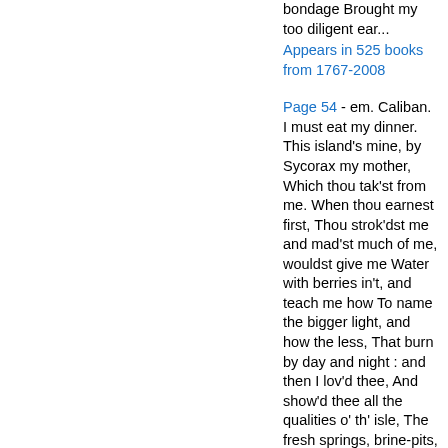bondage Brought my too diligent ear...
Appears in 525 books from 1767-2008
Page 54 - em. Caliban. I must eat my dinner. This island's mine, by Sycorax my mother, Which thou tak'st from me. When thou earnest first, Thou strok'dst me and mad'st much of me, wouldst give me Water with berries in't, and teach me how To name the bigger light, and how the less, That burn by day and night : and then I lov'd thee, And show'd thee all the qualities o' th' isle, The fresh springs, brine-pits, barren place